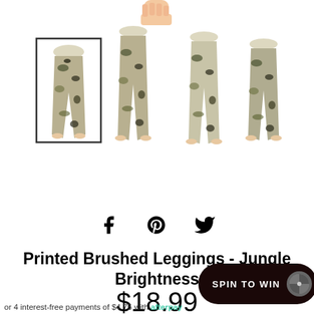[Figure (photo): Product thumbnail images of printed brushed leggings in jungle/camo pattern shown from 4 angles, with a hand holding them at top. First image has a border indicating it is selected.]
[Figure (infographic): Social sharing icons: Facebook, Pinterest, Twitter]
Printed Brushed Leggings - Jungle Brightness
$18.99
or 4 interest-free payments of $4.75 with Afterpay
[Figure (other): SPIN TO WIN button overlay in dark brown with a spinner wheel icon]